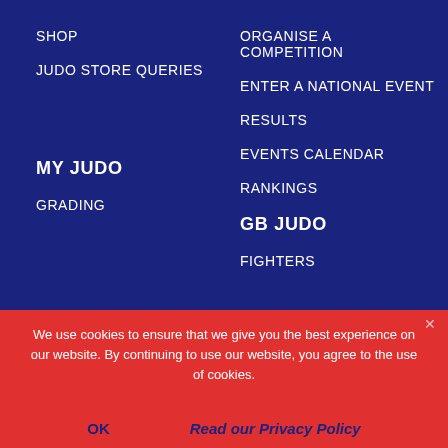SHOP
JUDO STORE QUERIES
ORGANISE A COMPETITION
ENTER A NATIONAL EVENT
RESULTS
EVENTS CALENDAR
RANKINGS
MY JUDO
GB JUDO
GRADING
FIGHTERS
We use cookies to ensure that we give you the best experience on our website. By continuing to use our website, you agree to the use of cookies.
OK
Read our Privacy Policy